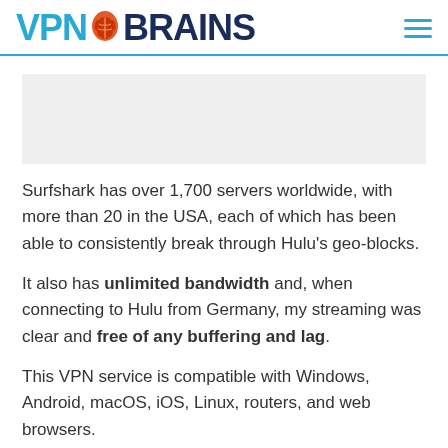VPN BRAINS
Surfshark has over 1,700 servers worldwide, with more than 20 in the USA, each of which has been able to consistently break through Hulu's geo-blocks.
It also has unlimited bandwidth and, when connecting to Hulu from Germany, my streaming was clear and free of any buffering and lag.
This VPN service is compatible with Windows, Android, macOS, iOS, Linux, routers, and web browsers.
Aside from being fast and reliable, Surfshark allows you to